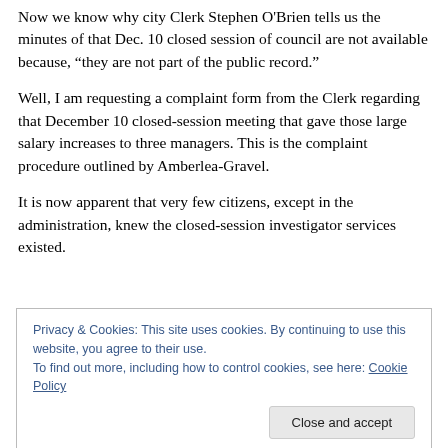Now we know why city Clerk Stephen O'Brien tells us the minutes of that Dec. 10 closed session of council are not available because, “they are not part of the public record.”
Well, I am requesting a complaint form from the Clerk regarding that December 10 closed-session meeting that gave those large salary increases to three managers. This is the complaint procedure outlined by Amberlea-Gravel.
It is now apparent that very few citizens, except in the administration, knew the closed-session investigator services existed.
Privacy & Cookies: This site uses cookies. By continuing to use this website, you agree to their use.
To find out more, including how to control cookies, see here: Cookie Policy